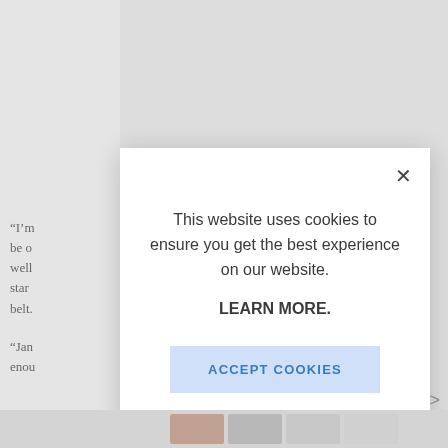[Figure (screenshot): Website screenshot partially obscured by a cookie consent modal dialog. Behind the modal, partial text of article quotes is visible on the left side. The modal contains a cookie notice with 'This website uses cookies to ensure you get the best experience on our website.' followed by 'LEARN MORE.' and an 'ACCEPT COOKIES' button.]
“I’m be o well star belt.
“Jan enou
This website uses cookies to ensure you get the best experience on our website.
LEARN MORE.
ACCEPT COOKIES